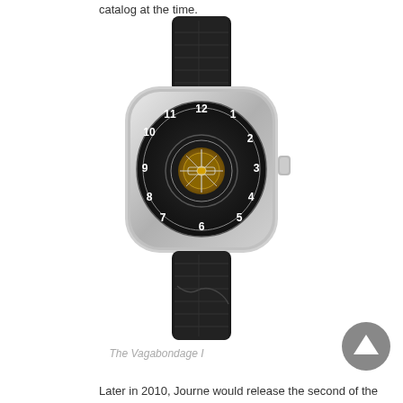catalog at the time.
[Figure (photo): A luxury tourbillon wristwatch with a silver/white metal case, black dial showing Arabic numerals around the perimeter, a central tourbillon mechanism with gold detailing, and a black crocodile-pattern leather strap.]
The Vagabondage I
Later in 2010, Journe would release the second of the